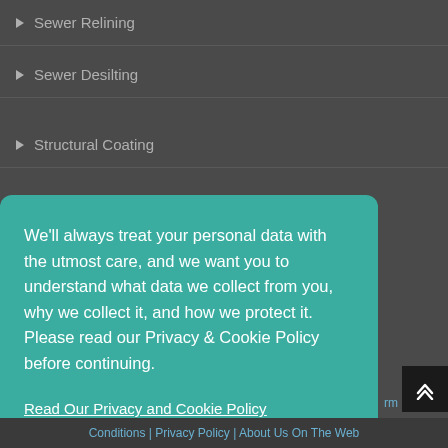▶ Sewer Relining
▶ Sewer Desilting
▶ Structural Coating
We'll always treat your personal data with the utmost care, and we want you to understand what data we collect from you, why we collect it, and how we protect it. Please read our Privacy & Cookie Policy before continuing.
Read Our Privacy and Cookie Policy
Decline
Accept
Conditions | Privacy Policy | About Us On The Web